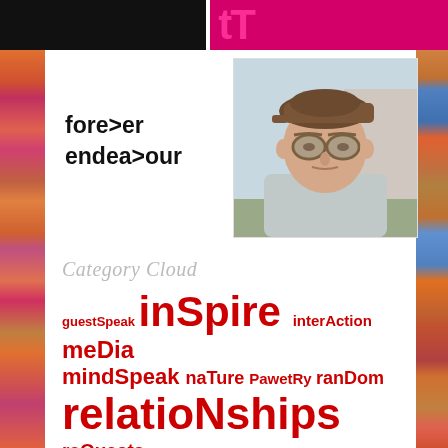[Figure (photo): Top banner with black rectangle on left and magenta/pink background on right, partially visible text]
[Figure (illustration): Colorful abstract mosaic pattern on left side border]
[Figure (illustration): Colorful abstract mosaic pattern on right side border]
[Figure (logo): forever endeavour logo with arrow symbols replacing 'v' characters, bold black text]
[Figure (photo): Portrait photo of an elderly man wearing a brown flat cap and glasses, light blue hoodie, outdoors]
Category Cloud
guestSpeak inSpire interAction meDia mindSpeak naTure PawetRy ranDom relatioNships reQuests